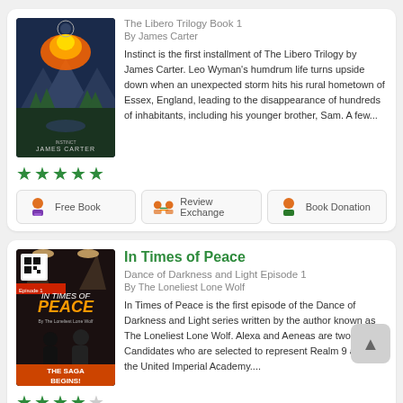[Figure (illustration): Book cover for Instinct by James Carter - fantasy/adventure cover with mountains, fire and forest]
The Libero Trilogy Book 1
By James Carter
Instinct is the first installment of The Libero Trilogy by James Carter. Leo Wyman's humdrum life turns upside down when an unexpected storm hits his rural hometown of Essex, England, leading to the disappearance of hundreds of inhabitants, including his younger brother, Sam. A few...
★★★★★
Free Book | Review Exchange | Book Donation
[Figure (illustration): Book cover for In Times of Peace - Dance of Darkness and Light Episode 1 with THE SAGA BEGINS text]
In Times of Peace
Dance of Darkness and Light Episode 1
By The Loneliest Lone Wolf
In Times of Peace is the first episode of the Dance of Darkness and Light series written by the author known as The Loneliest Lone Wolf. Alexa and Aeneas are two Candidates who are selected to represent Realm 9 and join the United Imperial Academy....
★★★★☆
Free Book